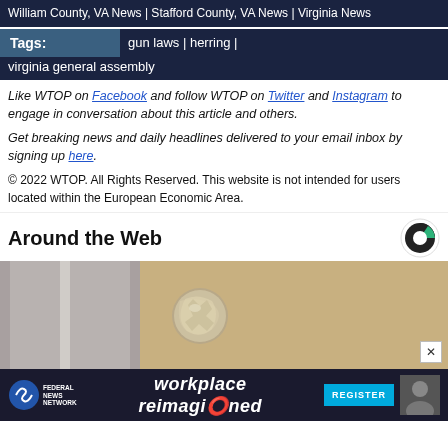William County, VA News | Stafford County, VA News | Virginia News
Tags: gun laws | herring | virginia general assembly
Like WTOP on Facebook and follow WTOP on Twitter and Instagram to engage in conversation about this article and others.
Get breaking news and daily headlines delivered to your email inbox by signing up here.
© 2022 WTOP. All Rights Reserved. This website is not intended for users located within the European Economic Area.
Around the Web
[Figure (photo): Photo of a door knob wrapped in aluminum foil]
[Figure (infographic): Federal News Network advertisement: workplace reimagined - REGISTER button]